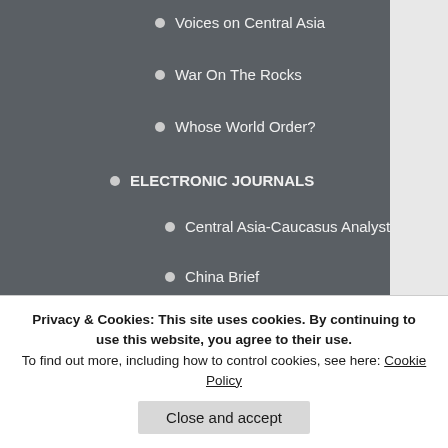Voices on Central Asia
War On The Rocks
Whose World Order?
ELECTRONIC JOURNALS
Central Asia-Caucasus Analyst
China Brief
China Outlook
Conversation
Conway Bulletin
CTC Sentinel
East Asia Forum
ISN
Open Democracy
Orizzonte Cina
Perspectives on Terrorism
It seems possible tha... father and had met h... Kashmir community. UK and spent some t... book, The Meadow, t... Arriving in Birmingha...
Privacy & Cookies: This site uses cookies. By continuing to use this website, you agree to their use. To find out more, including how to control cookies, see here: Cookie Policy
Close and accept